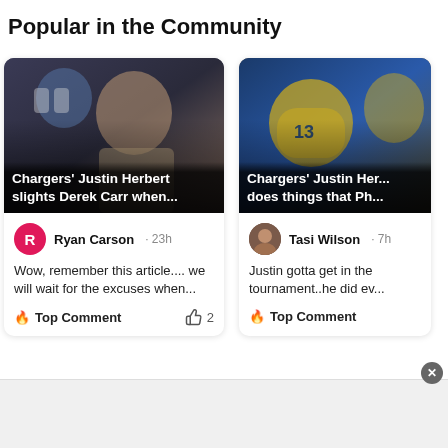Popular in the Community
[Figure (photo): Football player (Chargers' Justin Herbert) on the sideline, looking sideways, in uniform]
Chargers' Justin Herbert slights Derek Carr when...
Ryan Carson · 23h
Wow, remember this article.... we will wait for the excuses when...
🔥 Top Comment  👍 2
[Figure (photo): Chargers player wearing #13 helmet, on sideline]
Chargers' Justin Her... does things that Ph...
Tasi Wilson · 7h
Justin gotta get in the tournament..he did ev...
🔥 Top Comment